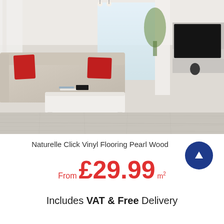[Figure (photo): Modern living room with light wood vinyl flooring, cream sofa with red cushions, white coffee table, and TV unit on the right. Large windows in background.]
Naturelle Click Vinyl Flooring Pearl Wood
From £29.99 m²
Includes VAT & Free Delivery